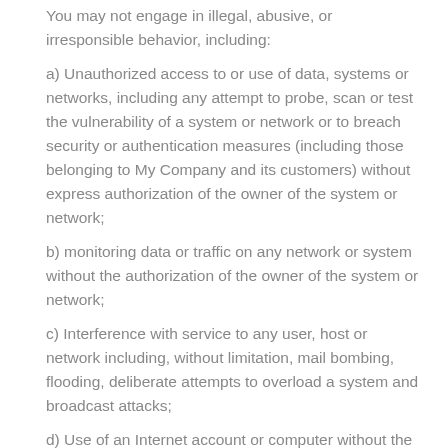You may not engage in illegal, abusive, or irresponsible behavior, including:
a) Unauthorized access to or use of data, systems or networks, including any attempt to probe, scan or test the vulnerability of a system or network or to breach security or authentication measures (including those belonging to My Company and its customers) without express authorization of the owner of the system or network;
b) monitoring data or traffic on any network or system without the authorization of the owner of the system or network;
c) Interference with service to any user, host or network including, without limitation, mail bombing, flooding, deliberate attempts to overload a system and broadcast attacks;
d) Use of an Internet account or computer without the owner's authorization, including, but not limited to Internet scanning (tricking other people into releasing their passwords), password robbery, security hole scanning, and